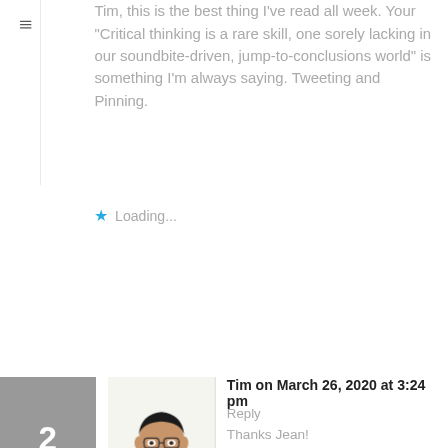[Figure (screenshot): Hamburger menu icon (three horizontal lines) in top left sidebar area]
Tim, this is the best thing I've read all week. Your "Critical thinking is a rare skill, one sorely lacking in our soundbite-driven, jump-to-conclusions world" is something I'm always saying. Tweeting and Pinning.
★ Loading...
2
[Figure (photo): Profile photo of Tim, a man wearing glasses and a dark suit]
Tim on March 26, 2020 at 3:24 pm
Reply
Thanks Jean!
★ Loading...
Leave a Reply